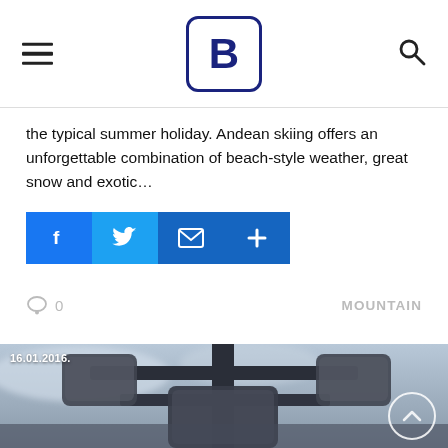B (logo navigation bar with hamburger menu and search icon)
the typical summer holiday. Andean skiing offers an unforgettable combination of beach-style weather, great snow and exotic…
[Figure (infographic): Social share buttons: Facebook (blue), Twitter (light blue), Email (dark blue envelope), More/plus (dark blue)]
0  MOUNTAIN
[Figure (photo): Black and white photograph of ski gondola cable car infrastructure/machinery with date overlay 16.01.2016. and a scroll-up circular button in lower right corner]